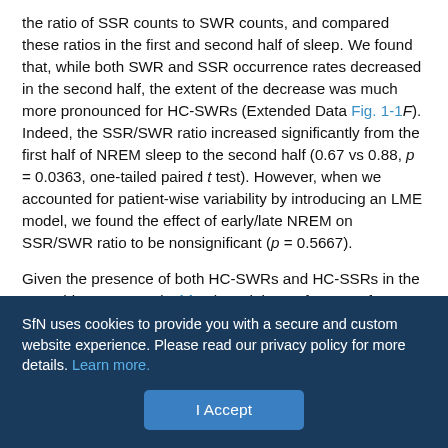the ratio of SSR counts to SWR counts, and compared these ratios in the first and second half of sleep. We found that, while both SWR and SSR occurrence rates decreased in the second half, the extent of the decrease was much more pronounced for HC-SWRs (Extended Data Fig. 1-1F). Indeed, the SSR/SWR ratio increased significantly from the first half of NREM sleep to the second half (0.67 vs 0.88, p = 0.0363, one-tailed paired t test). However, when we accounted for patient-wise variability by introducing an LME model, we found the effect of early/late NREM on SSR/SWR ratio to be nonsignificant (p = 0.5667).
Given the presence of both HC-SWRs and HC-SSRs in the same hippocampus (Table 2), and the preference of HC-SSRs to occur in pHC compared with aHC (Fig. 1F), we investigated whether a
SfN uses cookies to provide you with a secure and custom website experience. Please read our privacy policy for more details. Learn more.